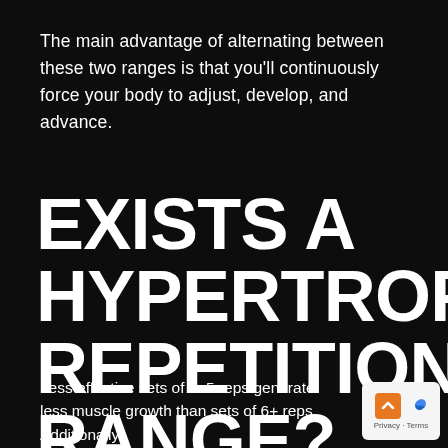The main advantage of alternating between these two ranges is that you'll continuously force your body to adjust, develop, and advance.
EXISTS A HYPERTROPHY REPETITION RANGE?
Less effective sets of 1–5 reps generate less muscle growth than sets of 6+ reps. Additionally
[Figure (logo): Google reCAPTCHA badge with orange and blue icons, Privacy and Terms links]